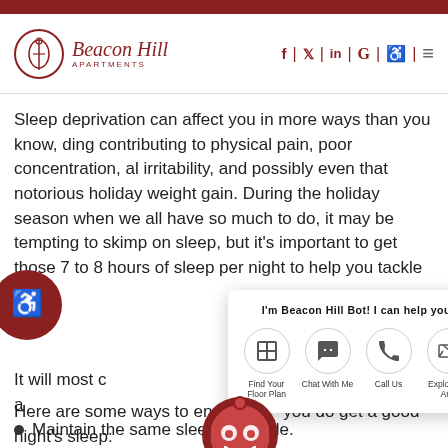Beacon Hill Apartments
Sleep deprivation can affect you in more ways than you know, including contributing to physical pain, poor concentration, emotional irritability, and possibly even that notorious holiday weight gain. During the holiday season when we all have so much to do, it may be tempting to skimp on sleep, but it’s important to get those 7 to 8 hours of sleep per night to help you tackle th[e season.]
It will most c[ertainly affect how you f]eel and how those a[round you feel.]
[Figure (screenshot): Beacon Hill Bot chat popup with options: Find Your Floor Plan, Chat With Me, Call Us, Explore the Area]
Here are some ways to ensu[re that] you do get a good night’s sleep:
Maintain the same sleep schedule.